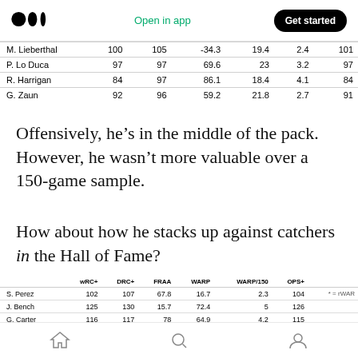Medium logo | Open in app | Get started
|  | wRC+ | DRC+ | FRAA | WARP | WARP/150 | OPS+ |
| --- | --- | --- | --- | --- | --- | --- |
| M. Lieberthal | 100 | 105 | -34.3 | 19.4 | 2.4 | 101 |
| P. Lo Duca | 97 | 97 | 69.6 | 23 | 3.2 | 97 |
| R. Harrigan | 84 | 97 | 86.1 | 18.4 | 4.1 | 84 |
| G. Zaun | 92 | 96 | 59.2 | 21.8 | 2.7 | 91 |
Offensively, he’s in the middle of the pack. However, he wasn’t more valuable over a 150-game sample.
How about how he stacks up against catchers in the Hall of Fame?
|  | wRC+ | DRC+ | FRAA | WARP | WARP/150 | OPS+ |  |
| --- | --- | --- | --- | --- | --- | --- | --- |
| S. Perez | 102 | 107 | 67.8 | 16.7 | 2.3 | 104 | * = rWAR |
| J. Bench | 125 | 130 | 15.7 | 72.4 | 5 | 126 |  |
| G. Carter | 116 | 117 | 78 | 64.9 | 4.2 | 115 |  |
| I. Rodriguez | 104 | 101 | 91.1 | 60.1 | 3.5 | 106 |  |
| C. Fisk | 117 | 117 | 59.7 | 72.5 | 4.4 | 117 |  |
| Y. Berra | 124 | 115 | 53.9 | 62.1 | 4.4 | 125 |  |
Home | Search | Profile